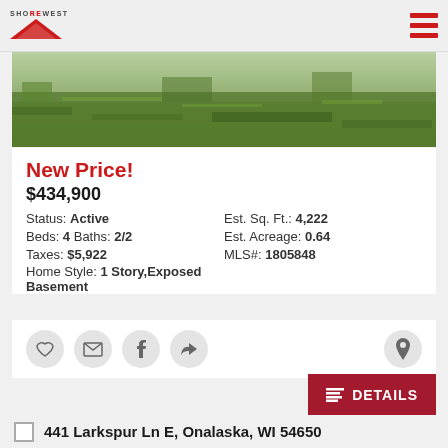[Figure (logo): Shorewest real estate logo with red triangle/mountain shape]
[Figure (photo): Aerial or ground-level photo of green grass yard/lawn]
New Price!
$434,900
Status: Active
Est. Sq. Ft.: 4,222
Beds: 4 Baths: 2/2
Est. Acreage: 0.64
Taxes: $5,922
MLS#: 1805848
Home Style: 1 Story,Exposed Basement
[Figure (infographic): Action icons: heart/favorite, email, facebook, share, and map pin buttons, plus Details button]
441 Larkspur Ln E, Onalaska, WI 54650